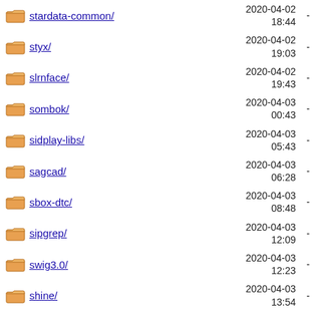stardata-common/ 2020-04-02 18:44 -
styx/ 2020-04-02 19:03 -
slrnface/ 2020-04-02 19:43 -
sombok/ 2020-04-03 00:43 -
sidplay-libs/ 2020-04-03 05:43 -
sagcad/ 2020-04-03 06:28 -
sbox-dtc/ 2020-04-03 08:48 -
sipgrep/ 2020-04-03 12:09 -
swig3.0/ 2020-04-03 12:23 -
shine/ 2020-04-03 13:54 -
symlinks/ 2020-04-03 14:54 -